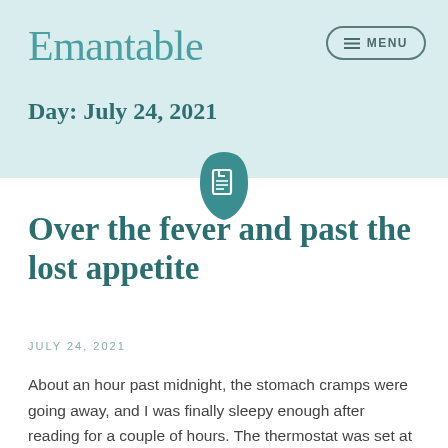Emantable
Day: July 24, 2021
[Figure (illustration): Teal document/page icon inside a rounded teardrop shape]
Over the fever and past the lost appetite
JULY 24, 2021
About an hour past midnight, the stomach cramps were going away, and I was finally sleepy enough after reading for a couple of hours. The thermostat was set at 78° because that's about as warm as I can tolerate it when